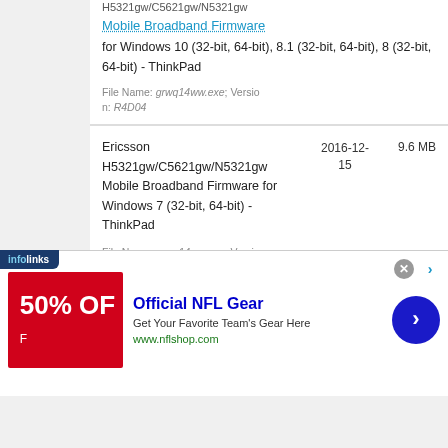H5321gw/C5621gw/N5321gw Mobile Broadband Firmware for Windows 10 (32-bit, 64-bit), 8.1 (32-bit, 64-bit), 8 (32-bit, 64-bit) - ThinkPad
File Name: grwq14ww.exe; Version: R4D04
Ericsson H5321gw/C5621gw/N5321gw Mobile Broadband Firmware for Windows 7 (32-bit, 64-bit) - ThinkPad
2016-12-15
9.6 MB
File Name: grwq14ww.exe; Versio
[Figure (infographic): Advertisement banner: infolinks tab, 50% OFF NFL gear ad with blue arrow button, Official NFL Gear headline, www.nflshop.com URL]